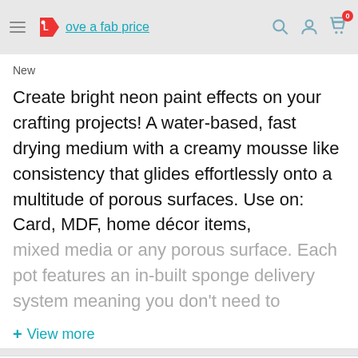[Figure (screenshot): Website header bar for 'love a fab price' with hamburger menu icon, logo with price tag, search icon, account icon, and cart icon with badge showing 0]
New
Create bright neon paint effects on your crafting projects! A water-based, fast drying medium with a creamy mousse like consistency that glides effortlessly onto a multitude of porous surfaces. Use on: Card, MDF, home décor items, mixed media or any porous surface. Each pot features an in-built sponge delivery system meaning you don't need to
+ View more
Product Conditions